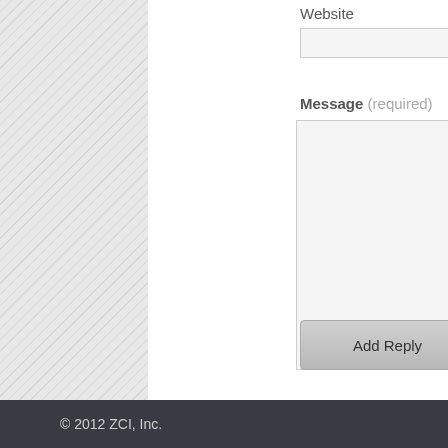Website
[Figure (screenshot): Website text input field, empty, with light gray background and border]
Message (required)
[Figure (screenshot): Large message textarea, empty, with light gray background and border]
[Figure (screenshot): Add Reply button with gray gradient background]
© 2012 ZCI, Inc.